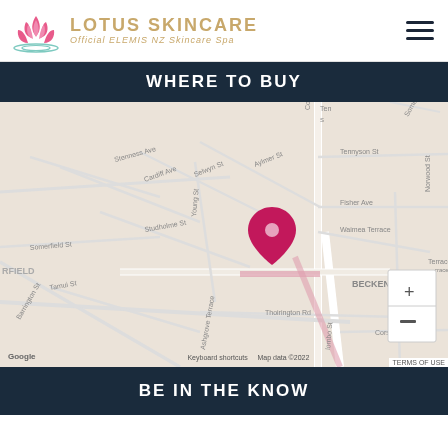[Figure (logo): Lotus Skincare logo with lotus flower icon, brand name and tagline 'Official ELEMIS NZ Skincare Spa']
WHERE TO BUY
[Figure (map): Google Maps showing a location pin (pink/magenta) in Christchurch NZ near Ashgrove Terrace and Colombo St intersection, with street names visible: Stenness Ave, Cardiff Ave, Selwyn St, Aylmer St, Somerfield St, Studholme St, Young St, Barrington St, Tamui St, Thoirington Rd, Ashgrove Terrace, Colombo St, Tennyson St, Fisher Ave, Waimea Terrace, Norwood St, Corson Ave. Area labels: RFIELD, BECKENHAM. Map data 2022.]
BE IN THE KNOW